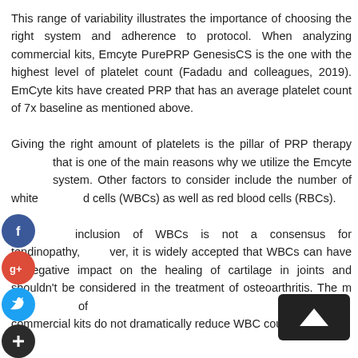This range of variability illustrates the importance of choosing the right system and adherence to protocol. When analyzing commercial kits, Emcyte PurePRP GenesisCS is the one with the highest level of platelet count (Fadadu and colleagues, 2019). EmCyte kits have created PRP that has an average platelet count of 7x baseline as mentioned above.
Giving the right amount of platelets is the pillar of PRP therapy that is one of the main reasons why we utilize the Emcyte system. Other factors to consider include the number of white blood cells (WBCs) as well as red blood cells (RBCs).
The inclusion of WBCs is not a consensus for tendinopathy, however, it is widely accepted that WBCs can have a negative impact on the healing of cartilage in joints and shouldn't be considered in the treatment of osteoarthritis. The majority of commercial kits do not dramatically reduce WBC count.